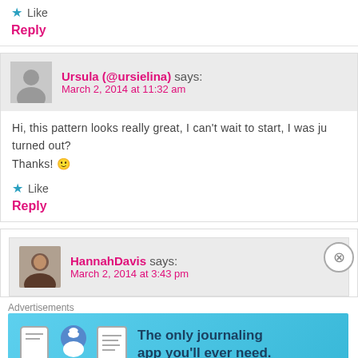Like
Reply
Ursula (@ursielina) says: March 2, 2014 at 11:32 am
Hi, this pattern looks really great, I can't wait to start, I was ju... turned out? Thanks! 🙂
Like
Reply
HannahDavis says: March 2, 2014 at 3:43 pm
Advertisements
[Figure (screenshot): Day One journaling app advertisement banner with text: The only journaling app you'll ever need.]